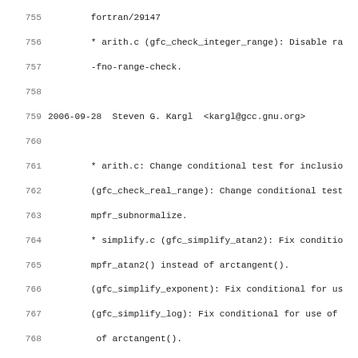755-786: Source code changelog entries for GCC fortran module, covering arith.c and simplify.c changes by Steven G. Kargl.